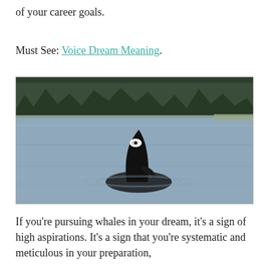of your career goals.
Must See: Voice Dream Meaning.
[Figure (photo): An orca whale spy-hopping (raising its head above water) in a calm bay or inlet, with a forested hillside visible in the background. The water is calm and blue-grey, and the orca is black with a white patch near its eye.]
If you're pursuing whales in your dream, it's a sign of high aspirations. It's a sign that you're systematic and meticulous in your preparation,